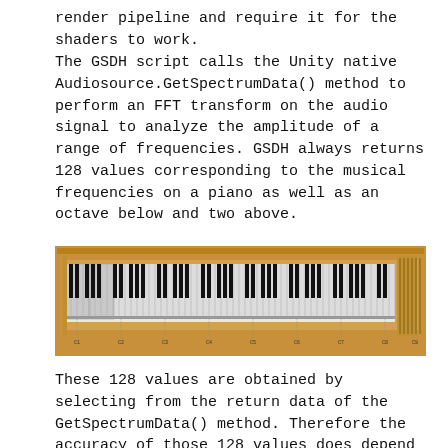render pipeline and require it for the shaders to work.
The GSDH script calls the Unity native Audiosource.GetSpectrumData() method to perform an FFT transform on the audio signal to analyze the amplitude of a range of frequencies. GSDH always returns 128 values corresponding to the musical frequencies on a piano as well as an octave below and two above.
[Figure (illustration): A piano keyboard illustration showing many octaves of keys on a golden/brown background, with black and white keys visible and frequency labels below.]
These 128 values are obtained by selecting from the return data of the GetSpectrumData() method. Therefore the accuracy of those 128 values does depend on the number of samples the GetSpectrumData() method uses, which can be set by a ...